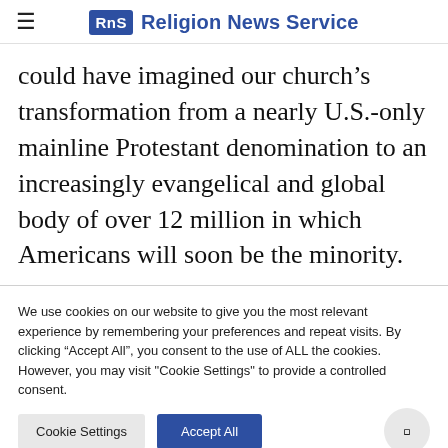RNS Religion News Service
could have imagined our church’s transformation from a nearly U.S.-only mainline Protestant denomination to an increasingly evangelical and global body of over 12 million in which Americans will soon be the minority.
We use cookies on our website to give you the most relevant experience by remembering your preferences and repeat visits. By clicking “Accept All”, you consent to the use of ALL the cookies. However, you may visit "Cookie Settings" to provide a controlled consent.